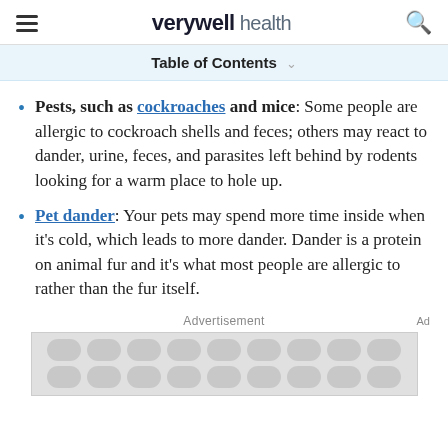verywell health
Table of Contents
Pests, such as cockroaches and mice: Some people are allergic to cockroach shells and feces; others may react to dander, urine, feces, and parasites left behind by rodents looking for a warm place to hole up.
Pet dander: Your pets may spend more time inside when it's cold, which leads to more dander. Dander is a protein on animal fur and it's what most people are allergic to rather than the fur itself.
Advertisement